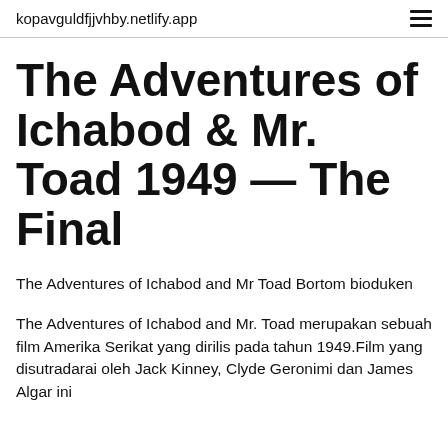kopavguldfjjvhby.netlify.app
The Adventures of Ichabod & Mr. Toad 1949 — The Final
The Adventures of Ichabod and Mr Toad Bortom bioduken
The Adventures of Ichabod and Mr. Toad merupakan sebuah film Amerika Serikat yang dirilis pada tahun 1949.Film yang disutradarai oleh Jack Kinney, Clyde Geronimi dan James Algar ini